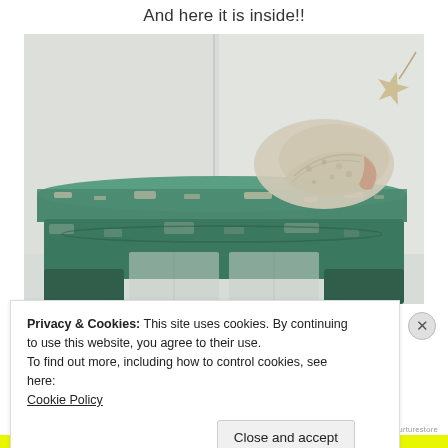And here it is inside!!
[Figure (photo): Close-up photo of a distressed teal/green painted wooden console table top with peeling paint texture, decorated with a large conch shell and a starfish on top, set against a white wall background.]
Privacy & Cookies: This site uses cookies. By continuing to use this website, you agree to their use.
To find out more, including how to control cookies, see here:
Cookie Policy
Close and accept